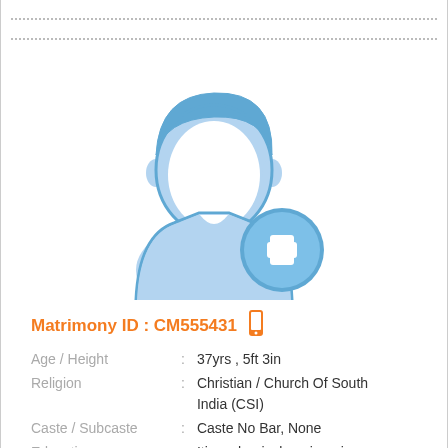[Figure (illustration): Male profile silhouette icon in light blue with a blue circle plus (+) add button overlay in the bottom right]
Matrimony ID : CM555431
Age / Height : 37yrs , 5ft 3in
Religion : Christian / Church Of South India (CSI)
Caste / Subcaste : Caste No Bar, None
Education : Iti mechanical engineering
Profession : Technician
Location : Muscat
Gender : Male / Groom